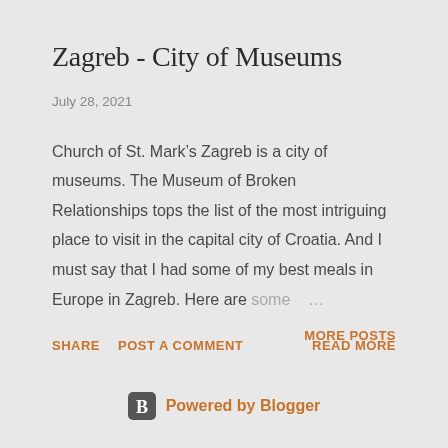Zagreb - City of Museums
July 28, 2021
Church of St. Mark’s Zagreb is a city of museums. The Museum of Broken Relationships tops the list of the most intriguing place to visit in the capital city of Croatia. And I must say that I had some of my best meals in Europe in Zagreb. Here are some …
SHARE  POST A COMMENT  READ MORE
MORE POSTS
Powered by Blogger